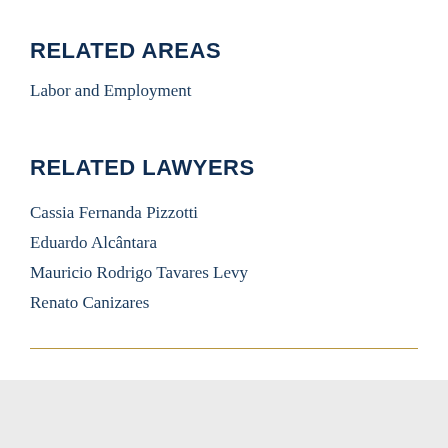RELATED AREAS
Labor and Employment
RELATED LAWYERS
Cassia Fernanda Pizzotti
Eduardo Alcântara
Mauricio Rodrigo Tavares Levy
Renato Canizares